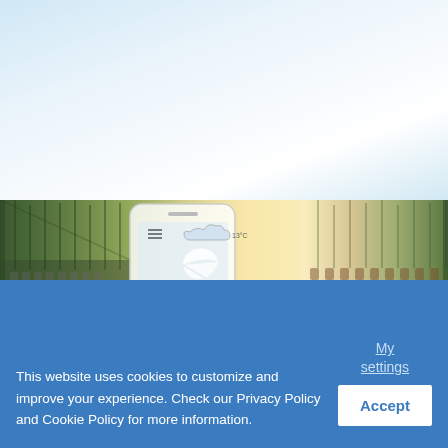[Figure (photo): A greenhouse/farm scene showing rows of potted plants, with a smartphone overlay displaying a leaf/plant app icon. The photo has warm golden tones in the center fading to green on the sides.]
This website uses cookies to customize and improve your experience. Check our Privacy Policy and Cookie Policy for more information.
My settings
Accept